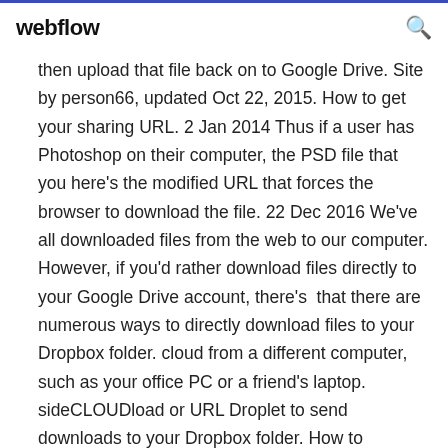webflow
then upload that file back on to Google Drive. Site by person66, updated Oct 22, 2015. How to get your sharing URL. 2 Jan 2014 Thus if a user has Photoshop on their computer, the PSD file that you here's the modified URL that forces the browser to download the file. 22 Dec 2016 We've all downloaded files from the web to our computer. However, if you'd rather download files directly to your Google Drive account, there's  that there are numerous ways to directly download files to your Dropbox folder. cloud from a different computer, such as your office PC or a friend's laptop. sideCLOUDload or URL Droplet to send downloads to your Dropbox folder. How to Download Files From